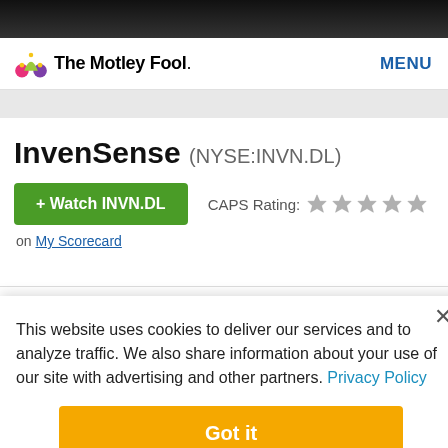The Motley Fool — MENU
InvenSense (NYSE:INVN.DL)
+ Watch INVN.DL   CAPS Rating: ★★★★★
on My Scorecard
This website uses cookies to deliver our services and to analyze traffic. We also share information about your use of our site with advertising and other partners. Privacy Policy
Got it
Cookie Settings